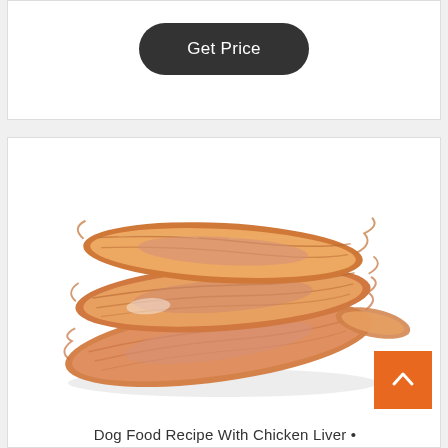Get Price
[Figure (photo): Stack of chicken jerky strips/slices, orange-pink colored dried meat treats, photographed on white background]
Dog Food Recipe With Chicken Liver •